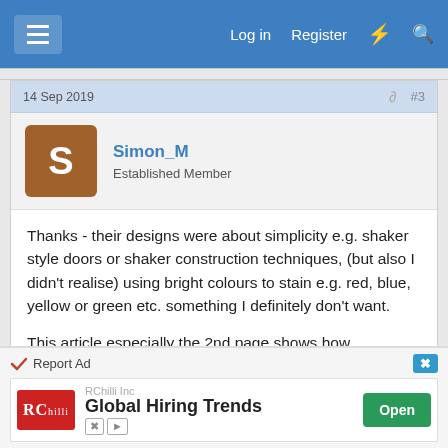Log in   Register
14 Sep 2019   #3
Simon_M
Established Member
Thanks - their designs were about simplicity e.g. shaker style doors or shaker construction techniques, (but also I didn't realise) using bright colours to stain e.g. red, blue, yellow or green etc. something I definitely don't want.

This article especially the 2nd page shows how blotchiness can be partially overcome - there is a photo of wood with the two contrasting tones that's
Report Ad   RChilli Inc   Global Hiring Trends   Open